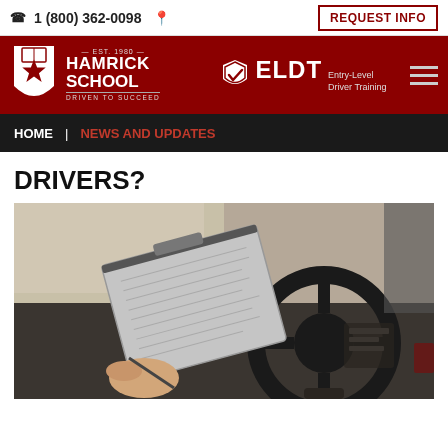☎ 1 (800) 362-0098  📍  REQUEST INFO
[Figure (logo): Hamrick School logo with ELDT Entry-Level Driver Training badge on red header bar]
HOME | NEWS AND UPDATES
DRIVERS?
[Figure (photo): Photo of a person's hand holding a clipboard with documents over a truck steering wheel, taken from the driver's seat of a large commercial vehicle]